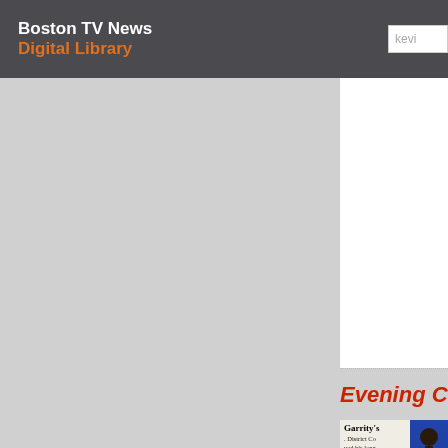Boston TV News Digital Library
[Figure (screenshot): Gray placeholder panel occupying left portion of the page below the header]
Evening Co
[Figure (photo): News clip showing headline 'Garrity's' with partial newspaper text about District Court and Boston school system, alongside a person in a blue jacket]